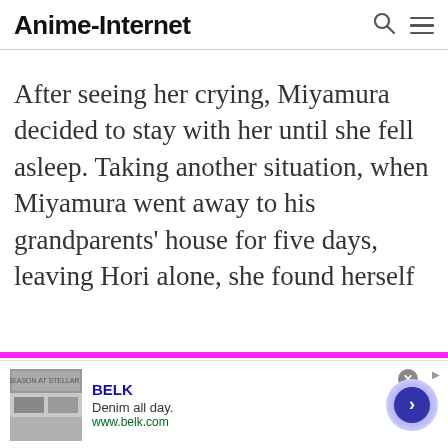Anime-Internet
After seeing her crying, Miyamura decided to stay with her until she fell asleep. Taking another situation, when Miyamura went away to his grandparents' house for five days, leaving Hori alone, she found herself
[Figure (screenshot): Advertisement banner for BELK - 'Denim all day. www.belk.com' with clothing images on left and navigation arrow on right]